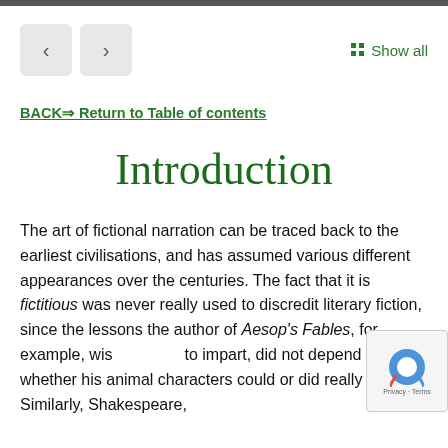[Figure (other): Navigation buttons (back arrow, forward arrow) and Show all link with grid icon]
BACK⇒ Return to Table of contents
Introduction
The art of fictional narration can be traced back to the earliest civilisations, and has assumed various different appearances over the centuries. The fact that it is fictitious was never really used to discredit literary fiction, since the lessons the author of Aesop's Fables, for example, wished to impart, did not depend upon whether his animal characters could or did really speak. Similarly, Shakespeare,